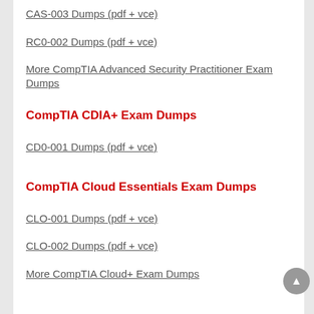CAS-003 Dumps (pdf + vce)
RC0-002 Dumps (pdf + vce)
More CompTIA Advanced Security Practitioner Exam Dumps
CompTIA CDIA+ Exam Dumps
CD0-001 Dumps (pdf + vce)
CompTIA Cloud Essentials Exam Dumps
CLO-001 Dumps (pdf + vce)
CLO-002 Dumps (pdf + vce)
More CompTIA Cloud+ Exam Dumps